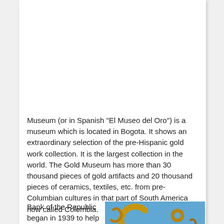Museum (or in Spanish "El Museo del Oro") is a museum which is located in Bogota. It shows an extraordinary selection of the pre-Hispanic gold work collection. It is the largest collection in the world. The Gold Museum has more than 30 thousand pieces of gold artifacts and 20 thousand pieces of ceramics, textiles, etc. from pre-Columbian cultures in that part of South America now called Colombia.
Bank of the Republic began in 1939 to help the archaeological history of Colombia to protect. The object
[Figure (photo): Photo of golden pre-Columbian artifacts — various crescent and spiral shaped gold pieces arranged on a blue background.]